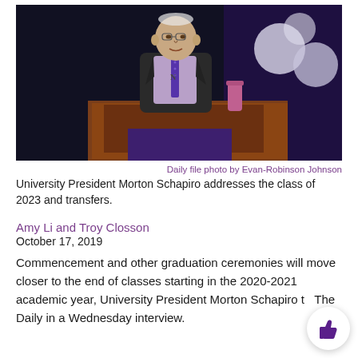[Figure (photo): University President Morton Schapiro speaking at a podium/lectern on a stage, wearing a dark academic gown over a lavender shirt and purple tie, with a microphone in front of him. Dark background with purple accent and balloons visible.]
Daily file photo by Evan-Robinson Johnson
University President Morton Schapiro addresses the class of 2023 and transfers.
Amy Li and Troy Closson
October 17, 2019
Commencement and other graduation ceremonies will move closer to the end of classes starting in the 2020-2021 academic year, University President Morton Schapiro to The Daily in a Wednesday interview.